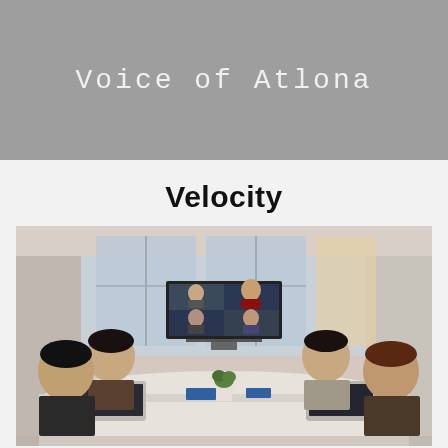Voice of Atlona
Velocity
[Figure (photo): Business professionals sitting around a conference table with laptops, participating in a video conference call. A large monitor displays remote participants via video call. Four people visible in person around the table.]